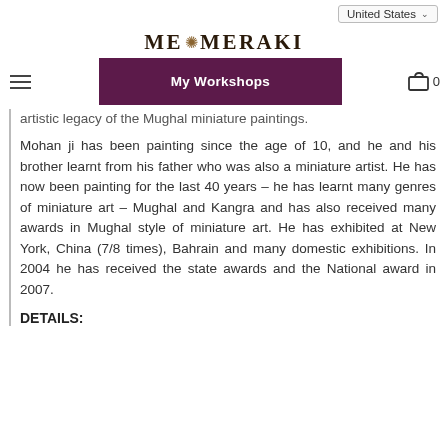United States
ME MERAKI
My Workshops  0
artistic legacy of the Mughal miniature paintings.
Mohan ji has been painting since the age of 10, and he and his brother learnt from his father who was also a miniature artist. He has now been painting for the last 40 years – he has learnt many genres of miniature art – Mughal and Kangra and has also received many awards in Mughal style of miniature art. He has exhibited at New York, China (7/8 times), Bahrain and many domestic exhibitions. In 2004 he has received the state awards and the National award in 2007.
DETAILS: